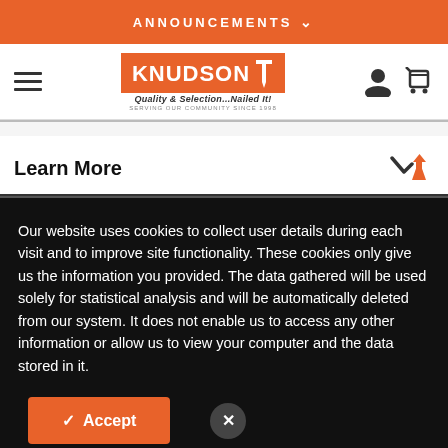ANNOUNCEMENTS
[Figure (logo): Knudson Lumber & Hardware logo with tagline 'Quality & Selection...Nailed It!']
Learn More
Our website uses cookies to collect user details during each visit and to improve site functionality. These cookies only give us the information you provided. The data gathered will be used solely for statistical analysis and will be automatically deleted from our system. It does not enable us to access any other information or allow us to view your computer and the data stored in it.